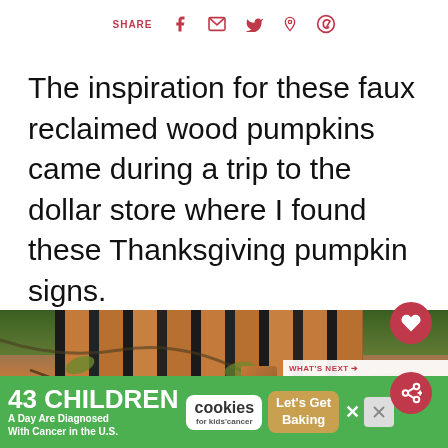SHARE [facebook] [email] [twitter] [pinterest] [whatsapp]
The inspiration for these faux reclaimed wood pumpkins came during a trip to the dollar store where I found these Thanksgiving pumpkin signs.
[Figure (photo): Photo of faux reclaimed wood pumpkins with vines and branches in front of wooden fence planks, orange and dark colored boards visible]
[Figure (infographic): What's Next overlay showing thumbnail and text: Bedazzled Wire Pumpki...]
[Figure (infographic): Advertisement banner: 43 Children A Day Are Diagnosed With Cancer in the U.S. - Cookies for kids cancer - Let's Get Baking]